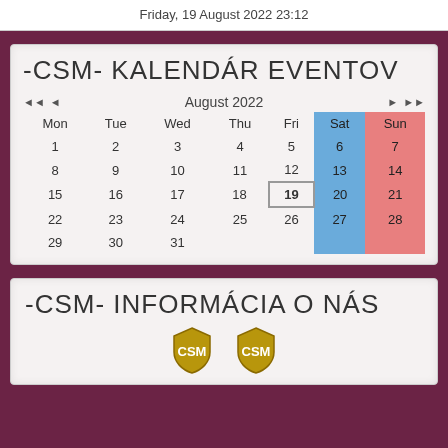Friday, 19 August 2022 23:12
-CSM- KALENDÁR EVENTOV
[Figure (other): Calendar widget showing August 2022. Days 1-31 arranged Mon-Sun. Saturday column highlighted blue, Sunday column highlighted pink/red. Day 19 (Friday) shown with bold text and border as today.]
-CSM- INFORMÁCIA O NÁS